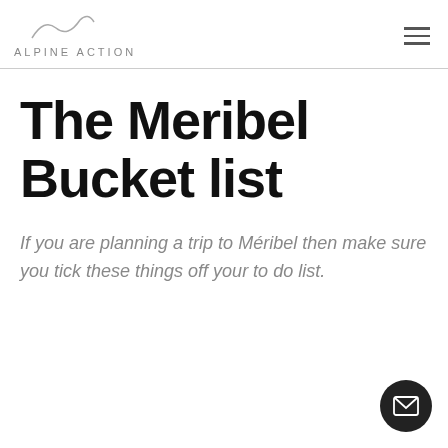ALPINE ACTION
The Meribel Bucket list
If you are planning a trip to Méribel then make sure you tick these things off your to do list.